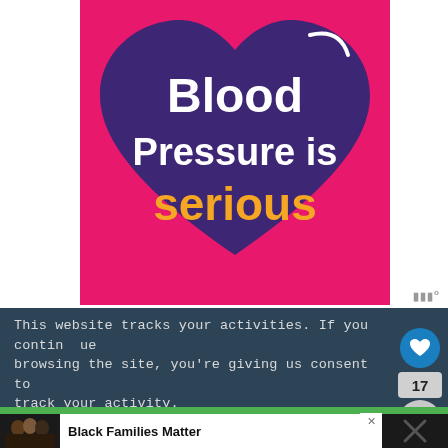[Figure (infographic): Pink square background with a large dark purple heart shape in the center. Inside the heart, white bold text reads 'Blood Pressure is' and below it in orange/yellow bold text reads 'serious'. A white curved line appears at the top right of the heart.]
This website tracks your activities. If you continue browsing the site, you're giving us consent to track your activity.
[Figure (infographic): Advertisement banner: photo of smiling family on left, bold text 'Black Families Matter' in center, close X button top right.]